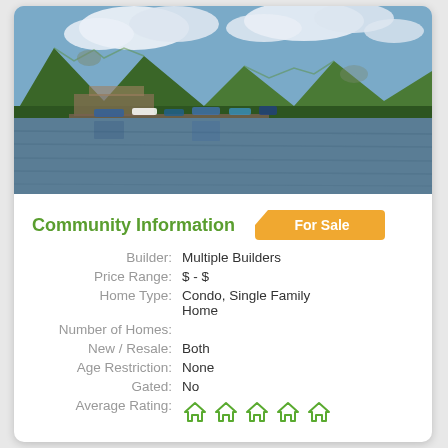[Figure (photo): Lake marina with boats docked, green tree-covered mountains in the background under a partly cloudy sky.]
Community Information
| Field | Value |
| --- | --- |
| Builder: | Multiple Builders |
| Price Range: | $ - $ |
| Home Type: | Condo, Single Family Home |
| Number of Homes: |  |
| New / Resale: | Both |
| Age Restriction: | None |
| Gated: | No |
| Average Rating: | ★★★★★ |